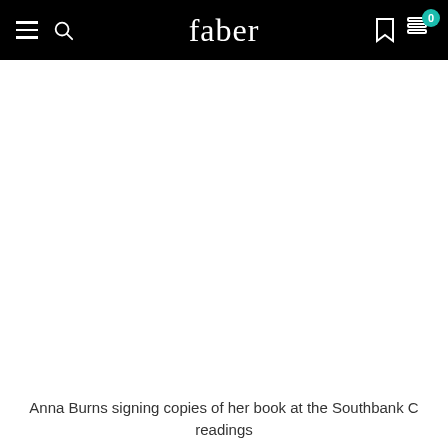faber
[Figure (photo): White/blank image area showing a photo that is not loaded or visible]
Anna Burns signing copies of her book at the Southbank C readings